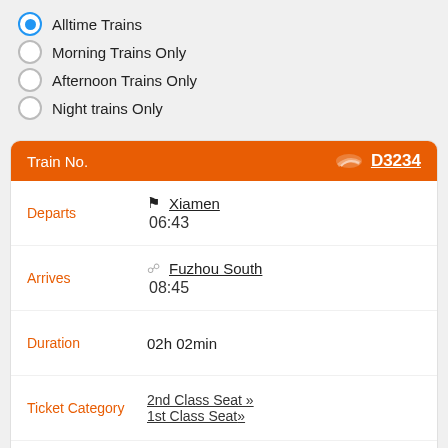Alltime Trains (selected)
Morning Trains Only
Afternoon Trains Only
Night trains Only
| Field | Value |
| --- | --- |
| Train No. | D3234 |
| Departs | Xiamen
06:43 |
| Arrives | Fuzhou South
08:45 |
| Duration | 02h 02min |
| Ticket Category | 2nd Class Seat »
1st Class Seat» |
| Prices | CN¥ 93
CN¥ 148 |